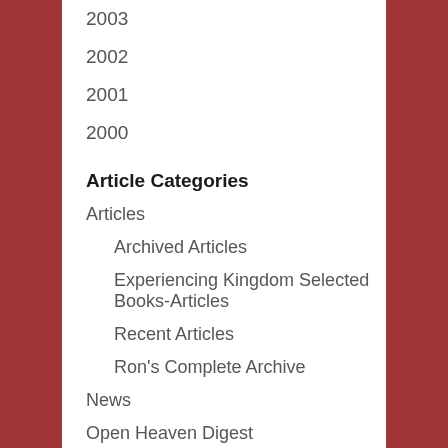2003
2002
2001
2000
Article Categories
Articles
Archived Articles
Experiencing Kingdom Selected Books-Articles
Recent Articles
Ron's Complete Archive
News
Open Heaven Digest
Archives Digest
Recent Digest
Uncategorized